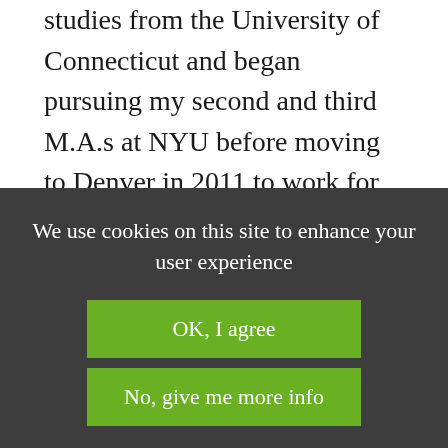studies from the University of Connecticut and began pursuing my second and third M.A.s at NYU before moving to Denver in 2011 to work for the Colorado Agency for Jewish Education.

Then, one sunny summer day in 2012, I
We use cookies on this site to enhance your user experience
OK, I agree
No, give me more info